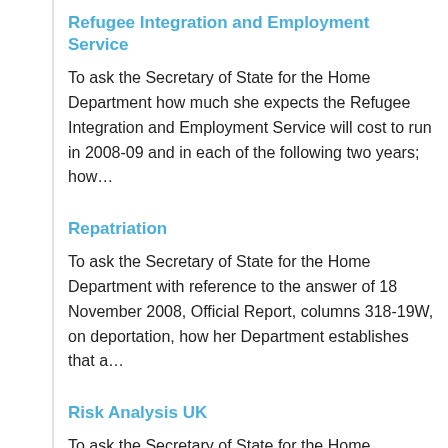Refugee Integration and Employment Service
To ask the Secretary of State for the Home Department how much she expects the Refugee Integration and Employment Service will cost to run in 2008-09 and in each of the following two years; how…
Repatriation
To ask the Secretary of State for the Home Department with reference to the answer of 18 November 2008, Official Report, columns 318-19W, on deportation, how her Department establishes that a…
Risk Analysis UK
To ask the Secretary of State for the Home Department what use her Department has made of